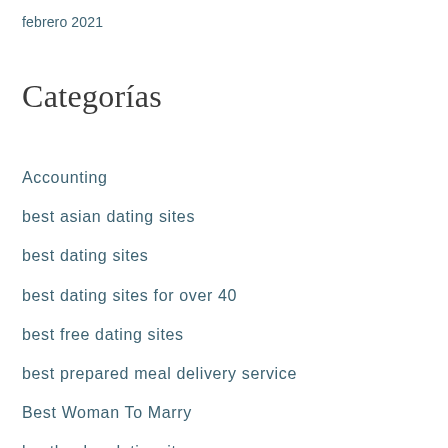febrero 2021
Categorías
Accounting
best asian dating sites
best dating sites
best dating sites for over 40
best free dating sites
best prepared meal delivery service
Best Woman To Marry
besthookupdatingsites.org
Crypto News